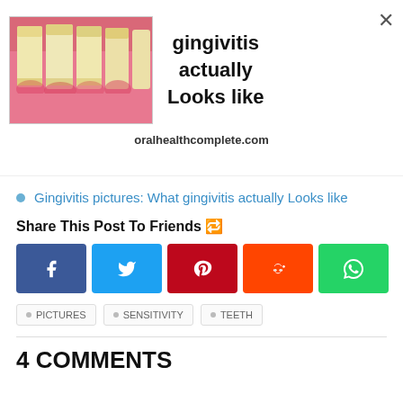[Figure (photo): Advertisement banner showing a close-up photo of teeth with gingivitis (inflamed gums, yellowish teeth) next to bold text reading 'gingivitis actually Looks like' and URL 'oralhealthcomplete.com']
Gingivitis pictures: What gingivitis actually Looks like
Share This Post To Friends 🔁
[Figure (infographic): Row of social share buttons: Facebook (blue), Twitter (light blue), Pinterest (red), Reddit (orange), WhatsApp (green)]
PICTURES   SENSITIVITY   TEETH
4 COMMENTS